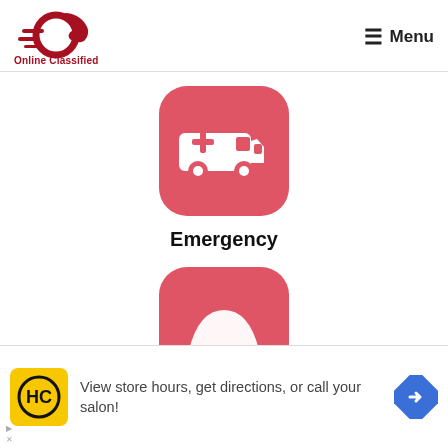[Figure (logo): Online Classified logo — red running horse with circular swoosh and speed lines, red text 'Online Classified' below]
[Figure (other): Menu hamburger icon (≡) with text 'Menu' in top right corner of header]
[Figure (illustration): App icon: rounded square with coral/red background, white ambulance with red cross, white wheels — Emergency app icon]
Emergency
[Figure (illustration): Partial app icon: rounded top of coral/red square with white badge/seal shape visible — partially cropped at bottom]
[Figure (other): Advertisement banner: yellow HC logo square, text 'View store hours, get directions, or call your salon!', blue navigation arrow icon]
View store hours, get directions, or call your salon!